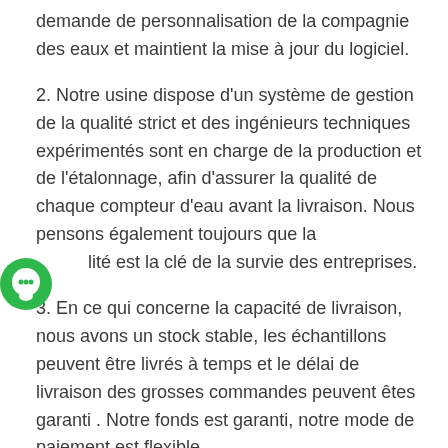demande de personnalisation de la compagnie des eaux et maintient la mise à jour du logiciel.
2. Notre usine dispose d'un système de gestion de la qualité strict et des ingénieurs techniques expérimentés sont en charge de la production et de l'étalonnage, afin d'assurer la qualité de chaque compteur d'eau avant la livraison. Nous pensons également toujours que la qualité est la clé de la survie des entreprises.
3. En ce qui concerne la capacité de livraison, nous avons un stock stable, les échantillons peuvent être livrés à temps et le délai de livraison des grosses commandes peuvent êtes garanti . Notre fonds est garanti, notre mode de paiement est flexible.
4.En ce qui concerne le système de service après-vente, nous construisons la station de services après-vente